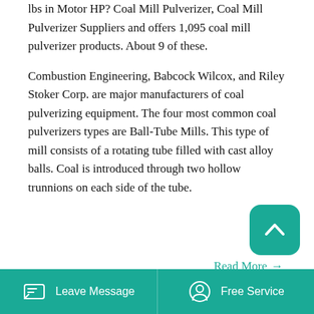lbs in Motor HP ? Coal Mill Pulverizer, Coal Mill Pulverizer Suppliers and offers 1,095 coal mill pulverizer products. About 9 of these.
Combustion Engineering, Babcock Wilcox, and Riley Stoker Corp. are major manufacturers of coal pulverizing equipment. The four most common coal pulverizers types are Ball-Tube Mills. This type of mill consists of a rotating tube filled with cast alloy balls. Coal is introduced through two hollow trunnions on each side of the tube.
Read More →
[Figure (photo): Industrial coal mill pulverizers in a power plant, showing large yellow-topped grinding mills arranged in rows with workers and scaffolding visible.]
Leave Message   Free Service